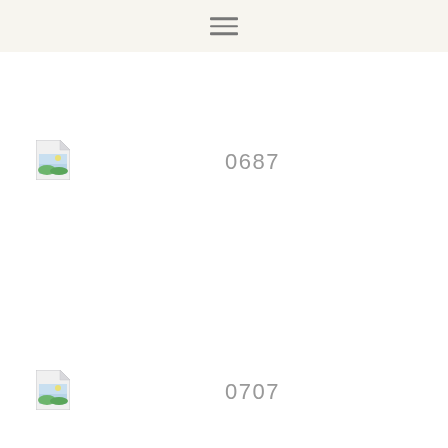[Figure (screenshot): Hamburger menu icon (three horizontal lines) in a light beige/cream top navigation bar]
[Figure (other): File icon with image thumbnail (landscape/photo image icon) followed by label 0687]
0687
[Figure (other): File icon with image thumbnail (landscape/photo image icon) followed by label 0707]
0707